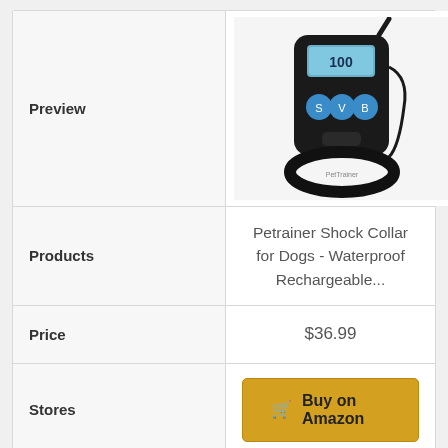|  |  |
| --- | --- |
| Preview | [product image: dog training shock collar with remote] |
| Products | Petrainer Shock Collar for Dogs - Waterproof Rechargeable... |
| Price | $36.99 |
| Stores | Buy on Amazon |
|  |  |
| --- | --- |
| Preview | [product image: dog training collar with remote - partial] |